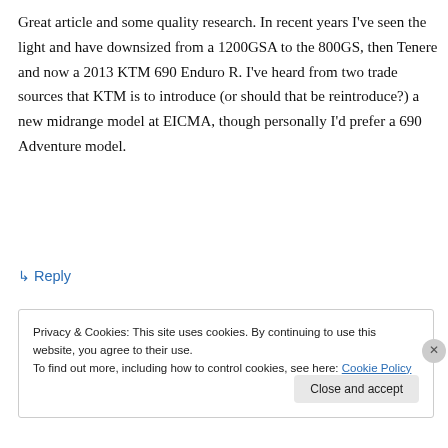Great article and some quality research. In recent years I've seen the light and have downsized from a 1200GSA to the 800GS, then Tenere and now a 2013 KTM 690 Enduro R. I've heard from two trade sources that KTM is to introduce (or should that be reintroduce?) a new midrange model at EICMA, though personally I'd prefer a 690 Adventure model.
↳ Reply
Privacy & Cookies: This site uses cookies. By continuing to use this website, you agree to their use.
To find out more, including how to control cookies, see here: Cookie Policy